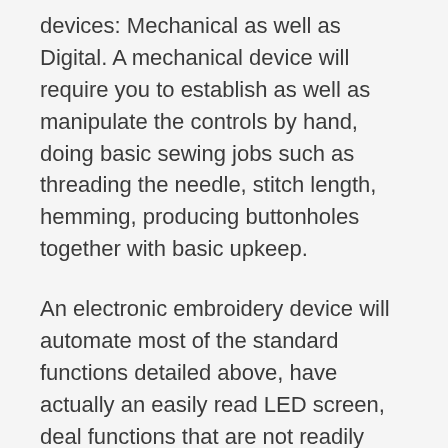devices: Mechanical as well as Digital. A mechanical device will require you to establish as well as manipulate the controls by hand, doing basic sewing jobs such as threading the needle, stitch length, hemming, producing buttonholes together with basic upkeep.
An electronic embroidery device will automate most of the standard functions detailed above, have actually an easily read LED screen, deal functions that are not readily available on a mechanical device and also relieve the problem of tedious stitching work.
A couple of attributes that are excellent are built-in lights to assist with sewing